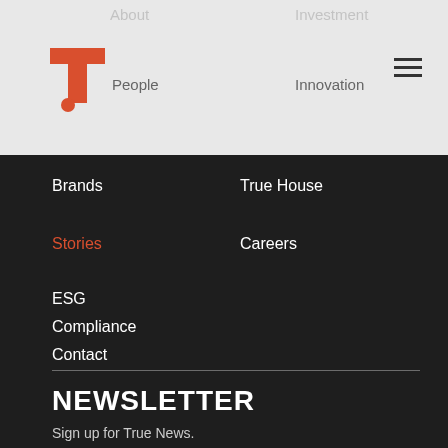[Figure (logo): Red T with dot logo]
About
Investment
People
Innovation
Brands
True House
Stories
Careers
ESG
Compliance
Contact
NEWSLETTER
Sign up for True News.